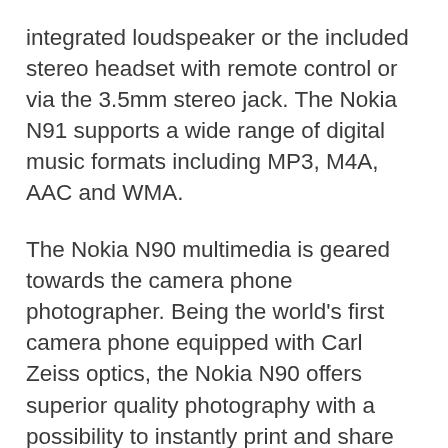integrated loudspeaker or the included stereo headset with remote control or via the 3.5mm stereo jack. The Nokia N91 supports a wide range of digital music formats including MP3, M4A, AAC and WMA.
The Nokia N90 multimedia is geared towards the camera phone photographer. Being the world's first camera phone equipped with Carl Zeiss optics, the Nokia N90 offers superior quality photography with a possibility to instantly print and share the shots over distances. Boasting a 2 megapixel camera and VHS resolution video capture among its advanced imaging features, the Nokia N90 multimedia helps people to capture memories at their convenience. Based on a pioneering multi-hinge twist-and-shoot